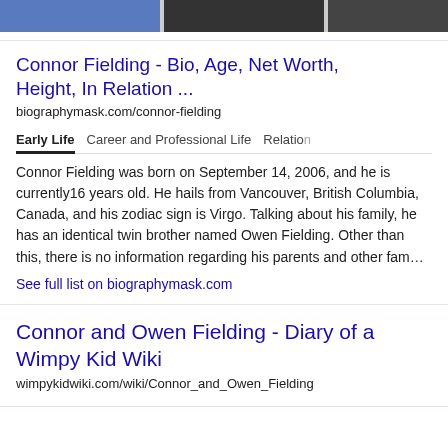[Figure (photo): Strip of three partially visible portrait photos at top of page]
Connor Fielding - Bio, Age, Net Worth, Height, In Relation ...
biographymask.com/connor-fielding
Early Life | Career and Professional Life | Relatio...
Connor Fielding was born on September 14, 2006, and he is currently16 years old. He hails from Vancouver, British Columbia, Canada, and his zodiac sign is Virgo. Talking about his family, he has an identical twin brother named Owen Fielding. Other than this, there is no information regarding his parents and other fam…
See full list on biographymask.com
Connor and Owen Fielding - Diary of a Wimpy Kid Wiki
wimpykidwiki.com/wiki/Connor_and_Owen_Fielding